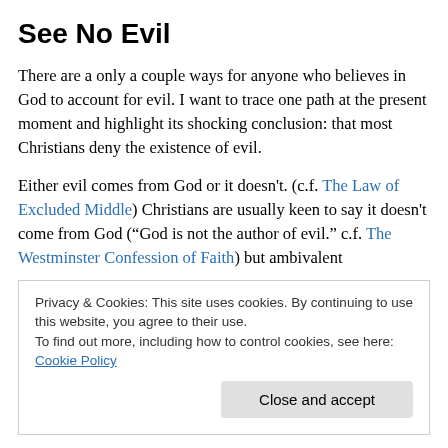See No Evil
There are a only a couple ways for anyone who believes in God to account for evil. I want to trace one path at the present moment and highlight its shocking conclusion: that most Christians deny the existence of evil.
Either evil comes from God or it doesn't. (c.f. The Law of Excluded Middle) Christians are usually keen to say it doesn't come from God (“God is not the author of evil.” c.f. The Westminster Confession of Faith) but ambivalent
Privacy & Cookies: This site uses cookies. By continuing to use this website, you agree to their use.
To find out more, including how to control cookies, see here: Cookie Policy
wish to highlight is present among any theodicy which